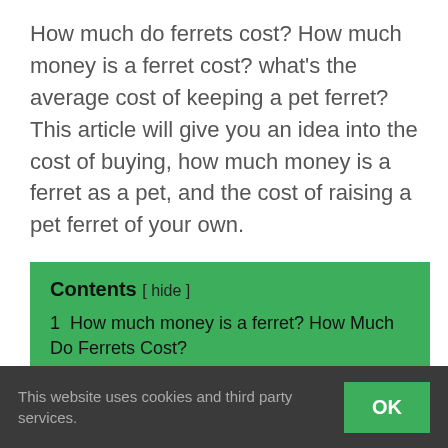How much do ferrets cost? How much money is a ferret cost? what's the average cost of keeping a pet ferret? This article will give you an idea into the cost of buying, how much money is a ferret as a pet, and the cost of raising a pet ferret of your own.
Contents [ hide ]
1  How much money is a ferret? How Much Do Ferrets Cost?
1.1  Vet bills -How much do ferrets cost?
1.2  Ferret food –How much do ferrets cost? –
This website uses cookies and third party services.